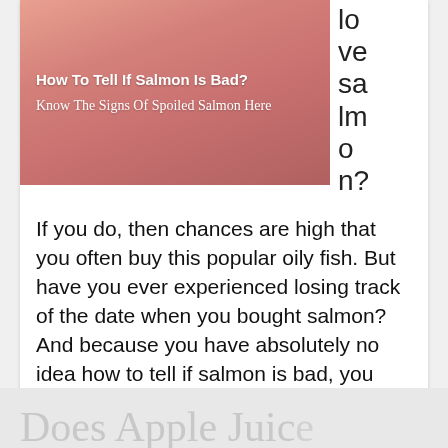[Figure (photo): Thumbnail image for article about spoiled salmon, pink/salmon colored background with text overlay reading 'How To Tell If Salmon Is Bad?' and 'Know The Signs Of Spoiled Salmon Here']
lo ve sa lm o n?
If you do, then chances are high that you often buy this popular oily fish. But have you ever experienced losing track of the date when you bought salmon? And because you have absolutely no idea how to tell if salmon is bad, you simply threw the fish away. Salmon will [...]
Does Apple Juice